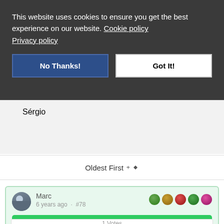This website uses cookies to ensure you get the best experience on our website. Cookie policy Privacy policy
No Thanks!
Got It!
Sérgio
Oldest First ⬧
Marc
6 years ago · #78
Accepted Answer
1 Votes